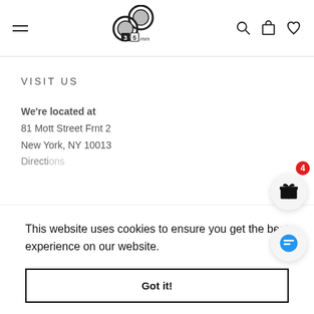[Figure (logo): 35mm film canister logo with text '35mm']
VISIT US
We're located at
81 Mott Street Frnt 2
New York, NY 10013
Directions
This website uses cookies to ensure you get the best experience on our website.
Got it!